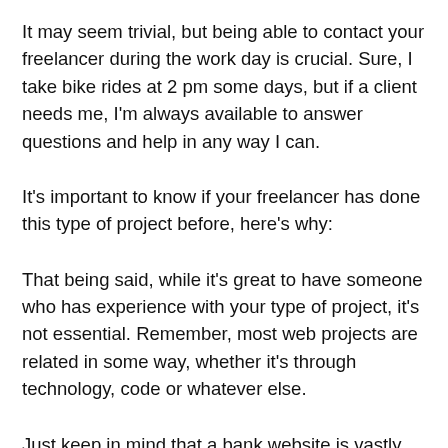It may seem trivial, but being able to contact your freelancer during the work day is crucial. Sure, I take bike rides at 2 pm some days, but if a client needs me, I'm always available to answer questions and help in any way I can.
It's important to know if your freelancer has done this type of project before, here's why:
That being said, while it's great to have someone who has experience with your type of project, it's not essential. Remember, most web projects are related in some way, whether it's through technology, code or whatever else.
Just keep in mind that a bank website is vastly different